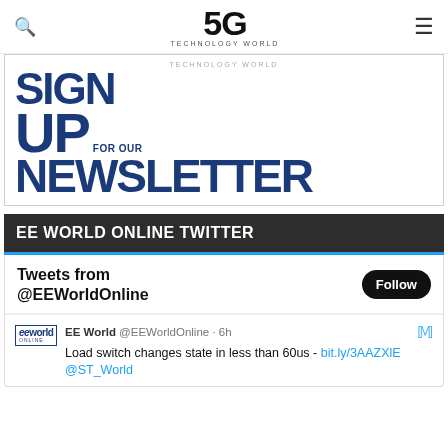5G TECHNOLOGY WORLD
[Figure (infographic): Sign up for our newsletter banner with large bold blue text on white background]
EE WORLD ONLINE TWITTER
Tweets from @EEWorldOnline
EE World @EEWorldOnline · 6h Load switch changes state in less than 60us - bit.ly/3AAZXlE @ST_World